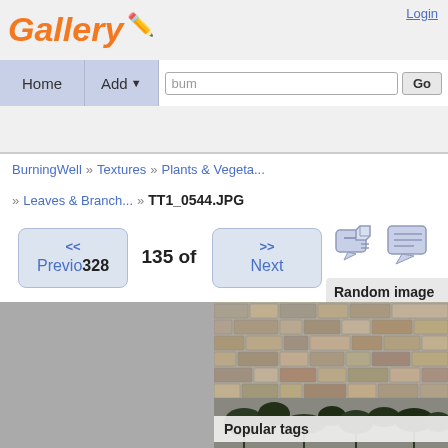Gallery | Login | Home | Add | Go
BurningWell » Textures » Plants & Vegeta...
» Leaves & Branch... » TT1_0544.JPG
<< Previous | 135 of 328 | Next >>
Random image
[Figure (photo): Stone wall texture with ivy/leaf plants at bottom, gallery website screenshot]
Popular tags